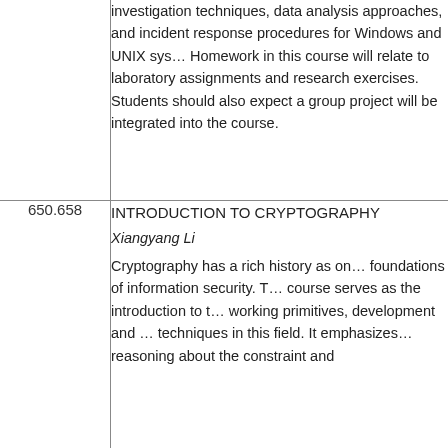| Course Number | Course Info |
| --- | --- |
|  | investigation techniques, data analysis approaches, and incident response procedures for Windows and UNIX systems. Homework in this course will relate to laboratory assignments and research exercises. Students should also expect a group project will be integrated into the course. |
| 650.658 | INTRODUCTION TO CRYPTOGRAPHY
Xiangyang Li
Cryptography has a rich history as one of the foundations of information security. This course serves as the introduction to the working primitives, development and techniques in this field. It emphasizes reasoning about the constraint and |